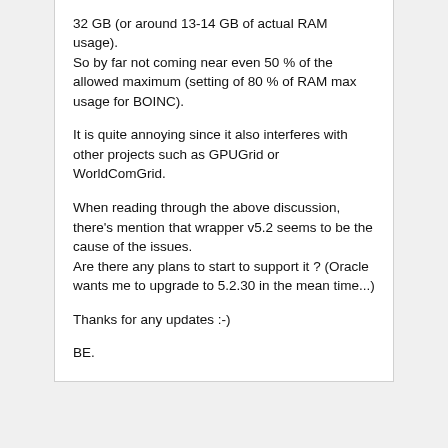32 GB (or around 13-14 GB of actual RAM usage).
So by far not coming near even 50 % of the allowed maximum (setting of 80 % of RAM max usage for BOINC).
It is quite annoying since it also interferes with other projects such as GPUGrid or WorldComGrid.
When reading through the above discussion, there's mention that wrapper v5.2 seems to be the cause of the issues.
Are there any plans to start to support it ? (Oracle wants me to upgrade to 5.2.30 in the mean time...)
Thanks for any updates :-)
BE.